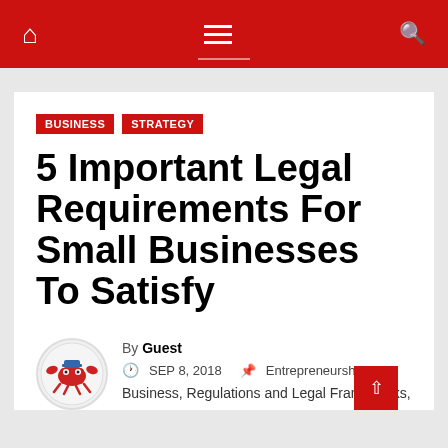Navigation bar with home, menu, and search icons
BUSINESS   STRATEGY
5 Important Legal Requirements For Small Businesses To Satisfy
By Guest  SEP 8, 2018  Entrepreneurship and Business, Regulations and Legal Frameworks,